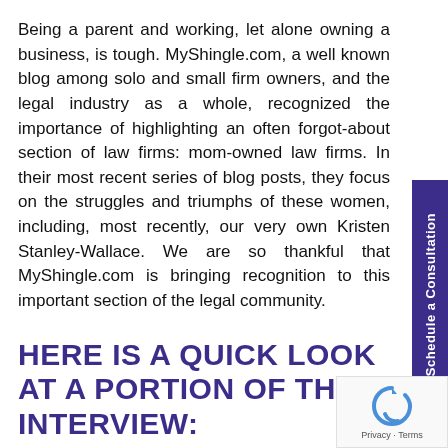Being a parent and working, let alone owning a business, is tough.  MyShingle.com, a well known blog among solo and small firm owners, and the legal industry as a whole, recognized the importance of highlighting an often forgot-about section of law firms: mom-owned law firms.  In their most recent series of blog posts, they focus on the struggles and triumphs of these women, including, most recently, our very own Kristen Stanley-Wallace.  We are so thankful that MyShingle.com is bringing recognition to this important section of the legal community.
HERE IS A QUICK LOOK AT A PORTION OF THE INTERVIEW: